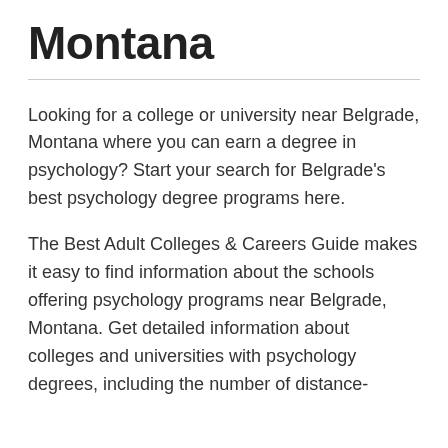Montana
Looking for a college or university near Belgrade, Montana where you can earn a degree in psychology? Start your search for Belgrade's best psychology degree programs here.
The Best Adult Colleges & Careers Guide makes it easy to find information about the schools offering psychology programs near Belgrade, Montana. Get detailed information about colleges and universities with psychology degrees, including the number of distance-